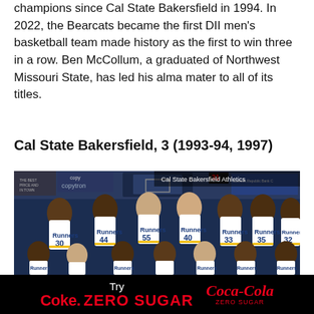champions since Cal State Bakersfield in 1994. In 2022, the Bearcats became the first DII men's basketball team made history as the first to win three in a row. Ben McCollum, a graduated of Northwest Missouri State, has led his alma mater to all of its titles.
Cal State Bakersfield, 3 (1993-94, 1997)
[Figure (photo): Team photo of Cal State Bakersfield basketball players wearing white jerseys with numbers 30, 44, 55, 40, 33, 35, 32 among others, posed in two rows in a gymnasium. Photo credit: Cal State Bakersfield Athletics.]
Try Coke. ZERO SUGAR | Coca-Cola ZERO SUGAR